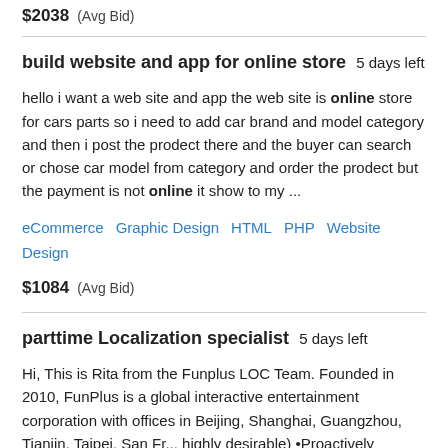$2038  (Avg Bid)
build website and app for online store   5 days left
hello i want a web site and app the web site is online store for cars parts so i need to add car brand and model category and then i post the prodect there and the buyer can search or chose car model from category and order the prodect but the payment is not online it show to my ...
eCommerce   Graphic Design   HTML   PHP   Website Design
$1084  (Avg Bid)
parttime Localization specialist   5 days left
Hi, This is Rita from the Funplus LOC Team. Founded in 2010, FunPlus is a global interactive entertainment corporation with offices in Beijing, Shanghai, Guangzhou, Tianjin, Taipei, San Fr... highly desirable) •Proactively